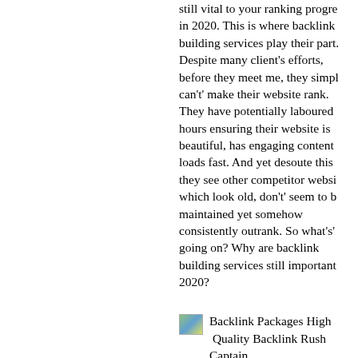still vital to your ranking progress in 2020. This is where backlink building services play their part. Despite many client's efforts, before they meet me, they simply can't' make their website rank. They have potentially laboured hours ensuring their website is beautiful, has engaging content and loads fast. And yet desoute this they see other competitor websites which look old, don't' seem to be maintained yet somehow consistently outrank. So what's' going on? Why are backlink building services still important in 2020?
[Figure (illustration): Small placeholder image thumbnail (green/blue/yellow gradient)]
Backlink Packages High Quality Backlink Rush Captain.
High Authority Backlink Packages
First, I do professional site and competitor backlink analysis and